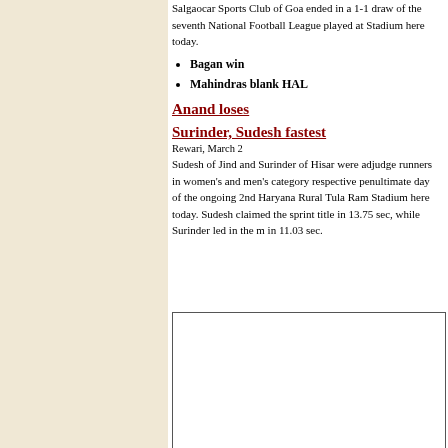Salgaocar Sports Club of Goa ended in a 1-1 draw of the seventh National Football League played at Stadium here today.
Bagan win
Mahindras blank HAL
Anand loses
Surinder, Sudesh fastest
Rewari, March 2
Sudesh of Jind and Surinder of Hisar were adjudged runners in women's and men's category respectively penultimate day of the ongoing 2nd Haryana Rural Tula Ram Stadium here today. Sudesh claimed the sprint title in 13.75 sec, while Surinder led in the m in 11.03 sec.
[Figure (other): Empty bordered box placeholder image]